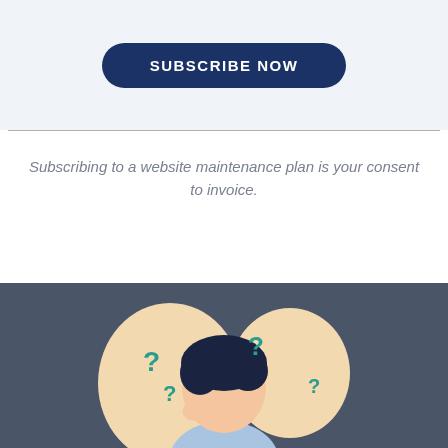[Figure (other): Subscribe Now button — dark navy rounded rectangle button with white uppercase text 'SUBSCRIBE NOW' on a light blue-gray background]
Subscribing to a website maintenance plan is your consent to invoice.
[Figure (illustration): Illustration of a confused person holding their head with question marks around them, on a dark slate blue background with peach/tan shapes]